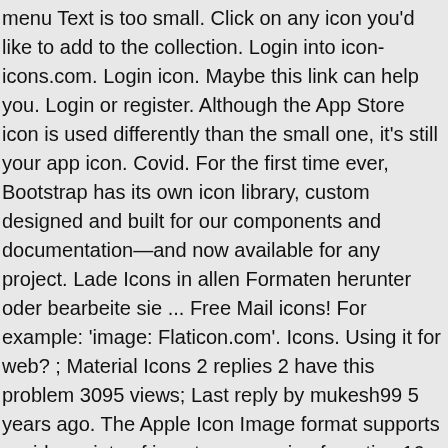menu Text is too small. Click on any icon you'd like to add to the collection. Login into icon-icons.com. Login icon. Maybe this link can help you. Login or register. Although the App Store icon is used differently than the small one, it's still your app icon. Covid. For the first time ever, Bootstrap has its own icon library, custom designed and built for our components and documentation—and now available for any project. Lade Icons in allen Formaten herunter oder bearbeite sie ... Free Mail icons! For example: 'image: Flaticon.com'. Icons. Using it for web? ; Material Icons 2 replies 2 have this problem 3095 views; Last reply by mukesh99 5 years ago. The Apple Icon Image format supports a wide variety of icon types ranging from tiny 16-by-16-pixel icons to the 1024-by-1024 ones for Retina-equipped Macs. Save a backup copy of your collections or share them with others- with just one click! 4Com führt jetzt für Sie das "Single Sign On" im Login-Prozess ein. Create unlimited collections and add all the Premium icons you need. 99 to rent. Certificates. Insert the attribution line close to where you're using the resource. Tons More. Get information here